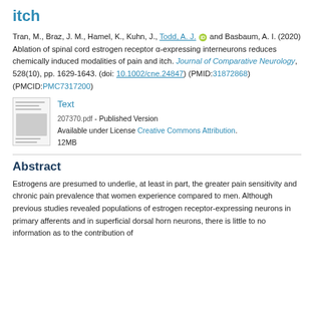itch
Tran, M., Braz, J. M., Hamel, K., Kuhn, J., Todd, A. J. [ORCID] and Basbaum, A. I. (2020) Ablation of spinal cord estrogen receptor α-expressing interneurons reduces chemically induced modalities of pain and itch. Journal of Comparative Neurology, 528(10), pp. 1629-1643. (doi: 10.1002/cne.24847) (PMID:31872868) (PMCID:PMC7317200)
[Figure (other): Thumbnail image of a PDF document page]
Text
207370.pdf - Published Version
Available under License Creative Commons Attribution.
12MB
Abstract
Estrogens are presumed to underlie, at least in part, the greater pain sensitivity and chronic pain prevalence that women experience compared to men. Although previous studies revealed populations of estrogen receptor-expressing neurons in primary afferents and in superficial dorsal horn neurons, there is little to no information as to the contribution of these neurons to the perception of pain and itch in vivo. Here...